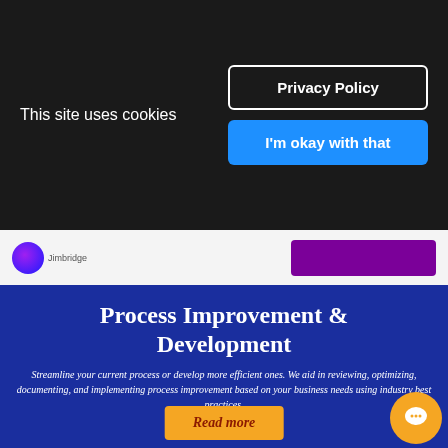This site uses cookies
Privacy Policy
I'm okay with that
[Figure (logo): Small circular logo with purple/blue gradient and small text below]
[Figure (other): Purple rectangular button in navigation bar]
Process Improvement & Development
Streamline your current process or develop more efficient ones. We aid in reviewing, optimizing, documenting, and implementing process improvement based on your business needs using industry best practices.
Read more
[Figure (other): Orange circular chat bubble icon in bottom right corner]